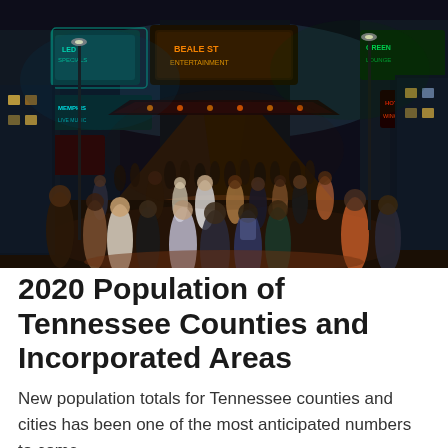[Figure (photo): Night-time street scene with crowds of people walking on a busy urban street lined with colorful neon signs and illuminated storefronts, resembling Beale Street in Memphis, Tennessee.]
2020 Population of Tennessee Counties and Incorporated Areas
New population totals for Tennessee counties and cities has been one of the most anticipated numbers to come